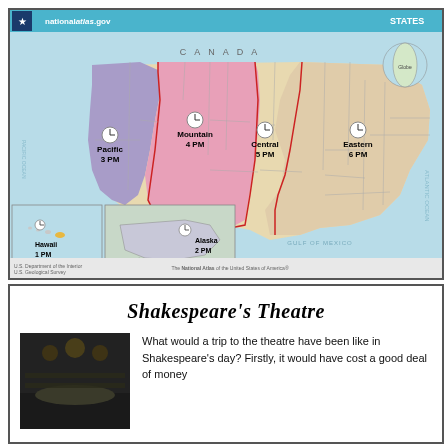[Figure (map): US time zones map from nationalatlas.gov showing Pacific 3 PM, Mountain 4 PM, Central 5 PM, Eastern 6 PM, Alaska 2 PM, Hawaii 1 PM]
Shakespeare's Theatre
[Figure (photo): Photo of Shakespeare's Theatre interior or model, dark image]
What would a trip to the theatre have been like in Shakespeare's day? Firstly, it would have cost a good deal of money